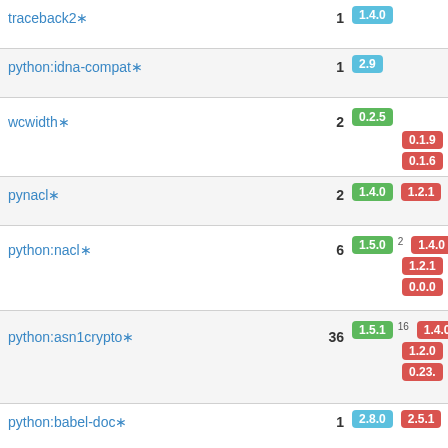| Package | Count | Versions |
| --- | --- | --- |
| traceback2* | 1 | 1.4.0 |
| python:idna-compat* | 1 | 2.9 |
| wcwidth* | 2 | 0.2.5 / 0.1.9 / 0.1.6 |
| pynacl* | 2 | 1.4.0 / 1.2.1 |
| python:nacl* | 6 | 1.5.0² / 1.4.0 / 1.2.1 / 0.0.0 |
| python:asn1crypto* | 36 | 1.5.1¹⁶ / 1.4.0 / 1.2.0 / 0.23. |
| python:babel-doc* | 1 | 2.8.0 / 2.5.1 |
| python:pyparsing2* | 1 | 2.4.7 |
| python:babel-compat* | 1 | 2.9.1 |
| python:cparser* | 9 | 2.21² / 2.20 / 2.18 |
| pycparser* | 2 | 2.21 / 2.20 |